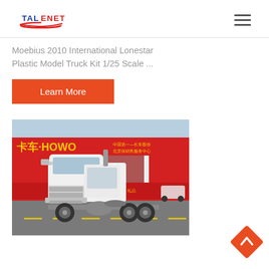[Figure (logo): Talenet logo with red swoosh and blue/red text]
Moebius 2010 International Lonestar Plastic Model Truck Kit 1/25 Scale ...
Learn More
[Figure (photo): White HOWO semi truck cab parked in front of a red HOWO dealership building with Chinese text signage]
[Figure (other): Orange diamond-shaped back-to-top button with upward chevron arrow]